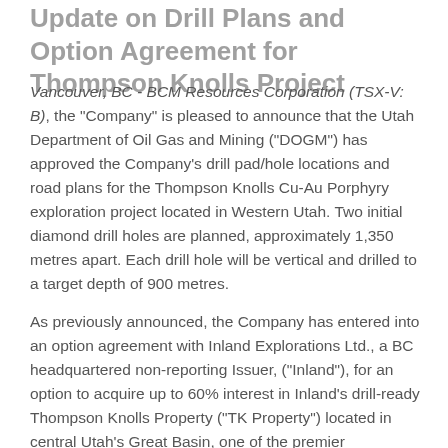Update on Drill Plans and Option Agreement for Thompson Knolls Project
Vancouver, BC - BCM Resources Corporation (TSX-V: B), the "Company" is pleased to announce that the Utah Department of Oil Gas and Mining ("DOGM") has approved the Company's drill pad/hole locations and road plans for the Thompson Knolls Cu-Au Porphyry exploration project located in Western Utah. Two initial diamond drill holes are planned, approximately 1,350 metres apart. Each drill hole will be vertical and drilled to a target depth of 900 metres.
As previously announced, the Company has entered into an option agreement with Inland Explorations Ltd., a BC headquartered non-reporting Issuer, ("Inland"), for an option to acquire up to 60% interest in Inland's drill-ready Thompson Knolls Property ("TK Property") located in central Utah's Great Basin, one of the premier metallogenic provinces in the world. The TK Property is